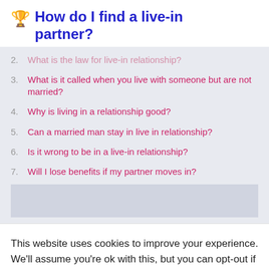How do I find a live-in partner?
2. What is the law for live-in relationship?
3. What is it called when you live with someone but are not married?
4. Why is living in a relationship good?
5. Can a married man stay in live in relationship?
6. Is it wrong to be in a live-in relationship?
7. Will I lose benefits if my partner moves in?
This website uses cookies to improve your experience. We'll assume you're ok with this, but you can opt-out if you wish.
Accept  Read More